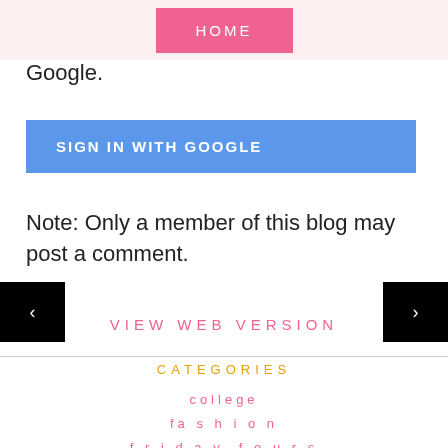HOME
Google.
[Figure (screenshot): Blue 'SIGN IN WITH GOOGLE' button]
Note: Only a member of this blog may post a comment.
[Figure (screenshot): Previous navigation arrow button (black square, left arrow)]
[Figure (screenshot): Next navigation arrow button (black square, right arrow)]
VIEW WEB VERSION
CATEGORIES
college
fashion
friday fours
high school
lifestyle